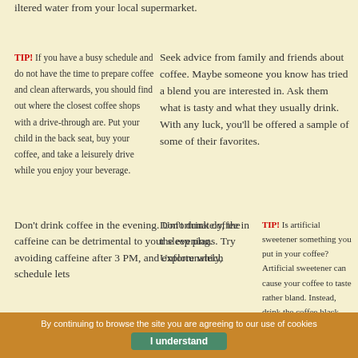iltered water from your local supermarket.
TIP! If you have a busy schedule and do not have the time to prepare coffee and clean afterwards, you should find out where the closest coffee shops with a drive-through are. Put your child in the back seat, buy your coffee, and take a leisurely drive while you enjoy your beverage.
Seek advice from family and friends about coffee. Maybe someone you know has tried a blend you are interested in. Ask them what is tasty and what they usually drink. With any luck, you'll be offered a sample of some of their favorites.
Don't drink coffee in the evening. Unfortunately, the caffeine can be detrimental to your sleep plans. Try avoiding caffeine after 3 PM, and explore which schedule lets
TIP! Is artificial sweetener something you put in your coffee? Artificial sweetener can cause your coffee to taste rather bland. Instead, drink the coffee black without any sweeteners, or add raw sugar if
By continuing to browse the site you are agreeing to our use of cookies
I understand